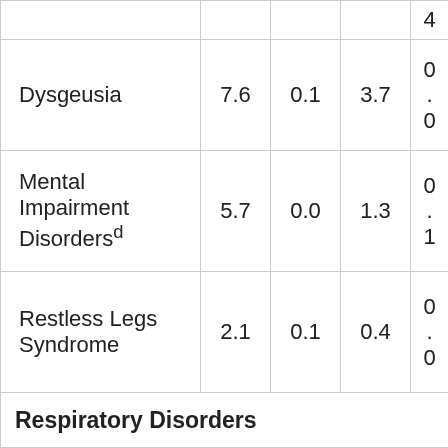| Condition | Col1 | Col2 | Col3 | Col4 |
| --- | --- | --- | --- | --- |
|  |  |  |  | 4 |
| Dysgeusia | 7.6 | 0.1 | 3.7 | 0
.
0 |
| Mental Impairment Disordersᵈ | 5.7 | 0.0 | 1.3 | 0
.
1 |
| Restless Legs Syndrome | 2.1 | 0.1 | 0.4 | 0
.
0 |
| Respiratory Disorders |  |  |  |  |
| Dyspneaᵉ | 11.
0 | 0.6 | 8.5 | 0
. |